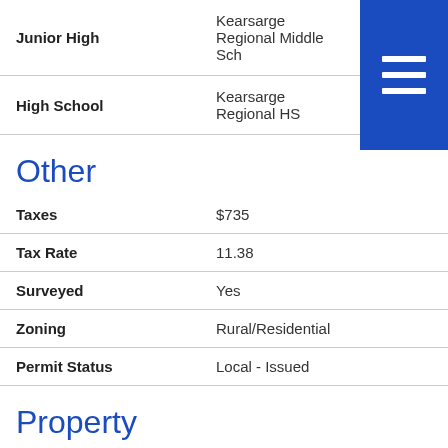| Field | Value |
| --- | --- |
| Junior High | Kearsarge Regional Middle Sch |
| High School | Kearsarge Regional HS |
Other
| Field | Value |
| --- | --- |
| Taxes | $735 |
| Tax Rate | 11.38 |
| Surveyed | Yes |
| Zoning | Rural/Residential |
| Permit Status | Local - Issued |
Property
| Field | Value |
| --- | --- |
| Acreage | 2.42 |
| Exposure | South, West |